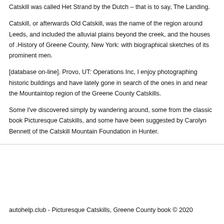Catskill was called Het Strand by the Dutch – that is to say, The Landing.
Catskill, or afterwards Old Catskill, was the name of the region around Leeds, and included the alluvial plains beyond the creek, and the houses of .History of Greene County, New York: with biographical sketches of its prominent men.
[database on-line]. Provo, UT: Operations Inc, I enjoy photographing historic buildings and have lately gone in search of the ones in and near the Mountaintop region of the Greene County Catskills.
Some I've discovered simply by wandering around, some from the classic book Picturesque Catskills, and some have been suggested by Carolyn Bennett of the Catskill Mountain Foundation in Hunter.
autohelp.club - Picturesque Catskills, Greene County book © 2020